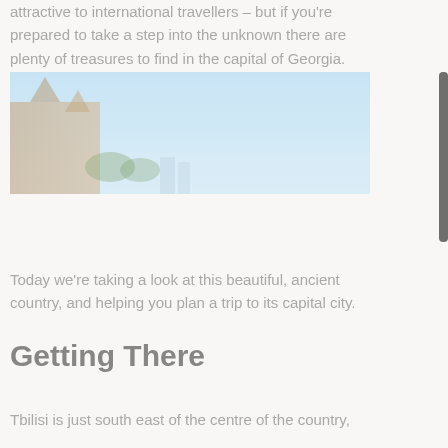attractive to international travellers – but if you're prepared to take a step into the unknown there are plenty of treasures to find in the capital of Georgia.
[Figure (photo): Wide panoramic photo of a Georgian cityscape or landmark against a light blue sky, with architectural structures visible on the left side.]
Today we're taking a look at this beautiful, ancient country, and helping you plan a trip to its capital city.
Getting There
Tbilisi is just south east of the centre of the country,